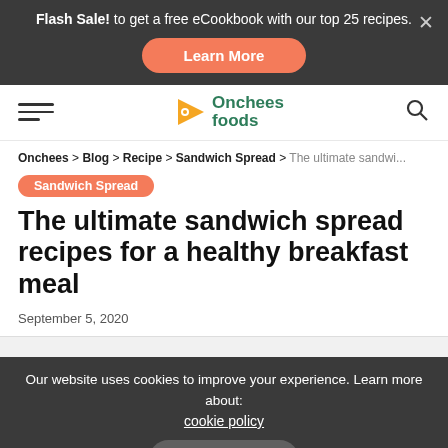Flash Sale! to get a free eCookbook with our top 25 recipes. Learn More
[Figure (logo): Onchees foods logo with pizza slice icon and teal text]
Onchees > Blog > Recipe > Sandwich Spread > The ultimate sandwi...
Sandwich Spread
The ultimate sandwich spread recipes for a healthy breakfast meal
September 5, 2020
Our website uses cookies to improve your experience. Learn more about: cookie policy Accept